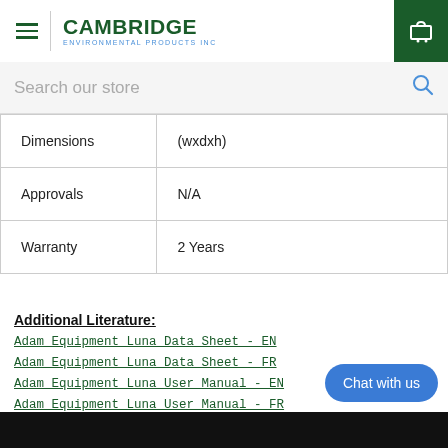[Figure (logo): Cambridge Environmental Products Inc logo with hamburger menu icon and shopping cart button]
Search our store
| Dimensions | (wxdxh) |
| Approvals | N/A |
| Warranty | 2 Years |
Additional Literature:
Adam Equipment Luna Data Sheet - EN
Adam Equipment Luna Data Sheet - FR
Adam Equipment Luna User Manual - EN
Adam Equipment Luna User Manual - FR